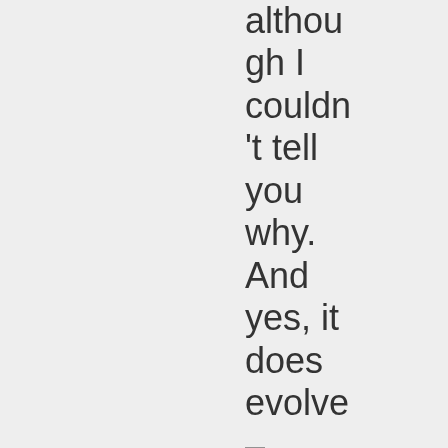although I couldn't tell you why. And yes, it does evolve – sometimes naturally (whate